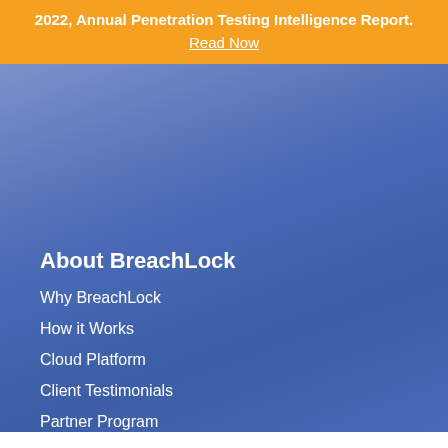2022, Annual Penetration Testing Intelligence Report. Read Now
About BreachLock
Why BreachLock
How it Works
Cloud Platform
Client Testimonials
Partner Program